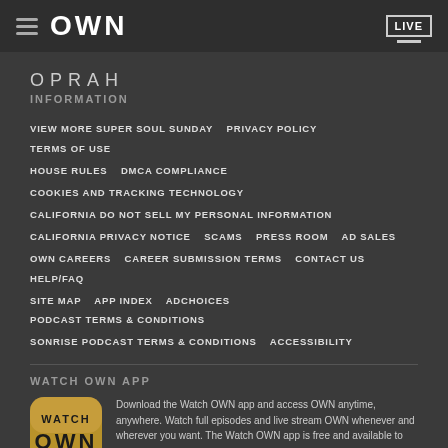OWN | LIVE
OPRAH
INFORMATION
VIEW MORE SUPER SOUL SUNDAY  PRIVACY POLICY  TERMS OF USE
HOUSE RULES  DMCA COMPLIANCE
COOKIES AND TRACKING TECHNOLOGY
CALIFORNIA DO NOT SELL MY PERSONAL INFORMATION
CALIFORNIA PRIVACY NOTICE  SCAMS  PRESS ROOM  AD SALES
OWN CAREERS  CAREER SUBMISSION TERMS  CONTACT US  HELP/FAQ
SITE MAP  APP INDEX  ADCHOICES  PODCAST TERMS & CONDITIONS
SONRISE PODCAST TERMS & CONDITIONS  ACCESSIBILITY
WATCH OWN APP
[Figure (logo): Watch OWN app icon with gold and black design]
Download the Watch OWN app and access OWN anytime, anywhere. Watch full episodes and live stream OWN whenever and wherever you want. The Watch OWN app is free and available to you